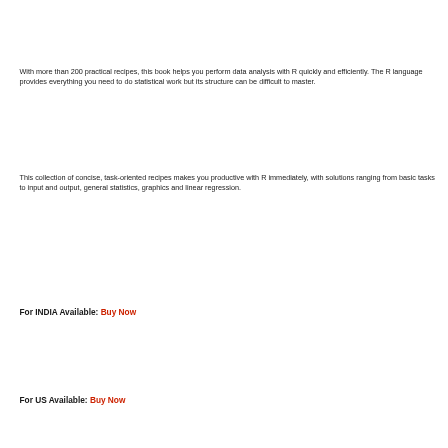With more than 200 practical recipes, this book helps you perform data analysis with R quickly and efficiently. The R language provides everything you need to do statistical work but its structure can be difficult to master.
This collection of concise, task-oriented recipes makes you productive with R immediately, with solutions ranging from basic tasks to input and output, general statistics, graphics and linear regression.
For INDIA Available: Buy Now
For US Available: Buy Now